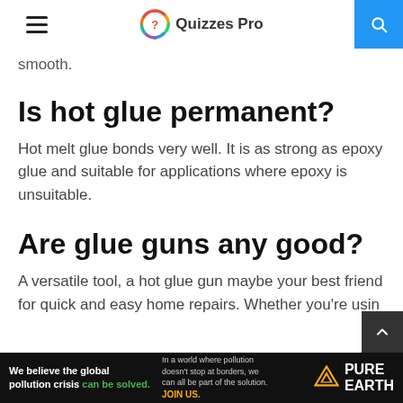Quizzes Pro
smooth.
Is hot glue permanent?
Hot melt glue bonds very well. It is as strong as epoxy glue and suitable for applications where epoxy is unsuitable.
Are glue guns any good?
A versatile tool, a hot glue gun maybe your best friend for quick and easy home repairs. Whether you're usin
[Figure (screenshot): Pure Earth advertisement banner: 'We believe the global pollution crisis can be solved.' with Pure Earth logo]